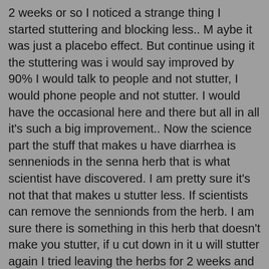2 weeks or so I noticed a strange thing I started stuttering and blocking less.. M aybe it was just a placebo effect. But continue using it the stuttering was i would say improved by 90% I would talk to people and not stutter, I would phone people and not stutter. I would have the occasional here and there but all in all it's such a big improvement.. Now the science part the stuff that makes u have diarrhea is senneniods in the senna herb that is what scientist have discovered. I am pretty sure it's not that that makes u stutter less. If scientists can remove the sennionds from the herb. I am sure there is something in this herb that doesn't make you stutter, if u cut down in it u will stutter again I tried leaving the herbs for 2 weeks and the stutter came right back. I hope someone can do research about this wonderful herb surely smth in it a chemical helps stuttering, I have given it to a friend who stutters as well after a while his stuttering was improved by 80%. Thanks thus was my experience with senna herb.